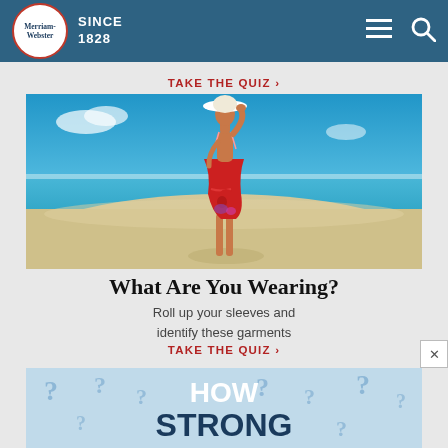Merriam-Webster SINCE 1828
TAKE THE QUIZ >
[Figure (photo): Woman in red sarong and white sun hat standing on a sandy beach with blue ocean in background, viewed from behind]
What Are You Wearing?
Roll up your sleeves and identify these garments
TAKE THE QUIZ >
[Figure (illustration): Partial view of a card with HOW STRONG text and question mark pattern on light blue background]